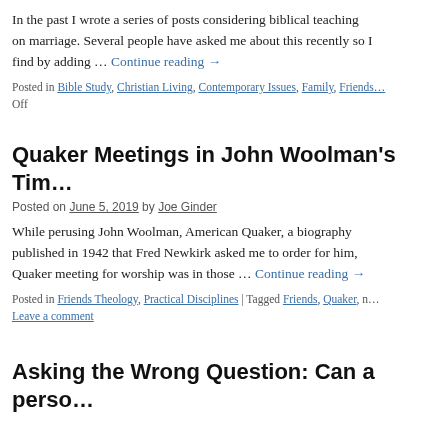In the past I wrote a series of posts considering biblical teaching on marriage. Several people have asked me about this recently so I … find by adding … Continue reading →
Posted in Bible Study, Christian Living, Contemporary Issues, Family, Friends … Off
Quaker Meetings in John Woolman's Tim…
Posted on June 5, 2019 by Joe Ginder
While perusing John Woolman, American Quaker, a biography published in 1942 that Fred Newkirk asked me to order for him, Quaker meeting for worship was in those … Continue reading →
Posted in Friends Theology, Practical Disciplines | Tagged Friends, Quaker, n… Leave a comment
Asking the Wrong Question: Can a perso…